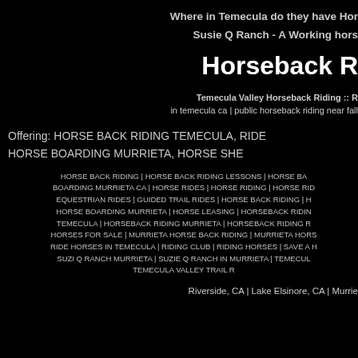Where in Temecula do they have Horseback Riding?
Susie Q Ranch - A Working horse ranch in Temecula Ca
Horseback Riding
Temecula Valley Horseback Riding :: Horseback Riding Temecula
in temecula ca | public horseback riding near fallbrook
Offering: HORSE BACK RIDING TEMECULA, RIDE HORSES TEMECULA,
HORSE BOARDING MURRIETA, HORSE SHOEING,
HORSE BACK RIDING | HORSE BACK RIDING LESSONS | HORSE BACK RIDING TEMECULA | HORSE BOARDING MURRIETA CA | HORSE RIDES | HORSE RIDING | HORSE RIDING TEMECULA | EQUESTRIAN RIDES | GUIDED TRAIL RIDES | HORSE BACK RIDING | HORSE BOARDING | HORSE BOARDING MURRIETA | HORSE LEASING | HORSEBACK RIDING TEMECULA | HORSEBACK RIDING MURRIETA | HORSEBACK RIDING RANCH | HORSES FOR SALE | MURRIETA HORSE BACK RIDING | MURRIETA HORSE BOARDING | RIDE HORSES IN TEMECULA | RIDING CLUB | RIDING HORSES | SAVE A HORSE | SUZI Q RANCH MURRIETA | SUZIE Q RANCH IN MURRIETA | TEMECULA HORSE BOARDING | TEMECULA VALLEY TRAIL RIDES
Riverside, CA | Lake Elsinore, CA | Murrieta, CA | Temecula, CA